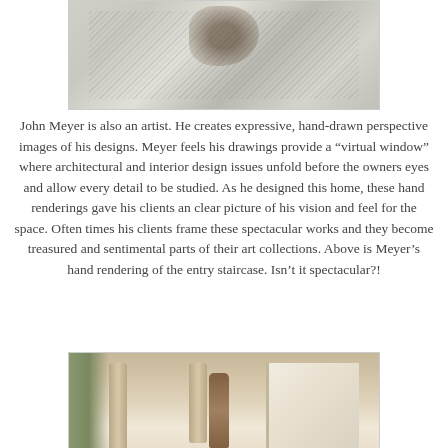[Figure (illustration): Hand-drawn architectural sketch/rendering of an entry staircase detail, showing pencil line work with a dark sculptural element in the upper center portion]
John Meyer is also an artist. He creates expressive, hand-drawn perspective images of his designs. Meyer feels his drawings provide a “virtual window” where architectural and interior design issues unfold before the owners eyes and allow every detail to be studied. As he designed this home, these hand renderings gave his clients an clear picture of his vision and feel for the space. Often times his clients frame these spectacular works and they become treasured and sentimental parts of their art collections. Above is Meyer’s hand rendering of the entry staircase. Isn’t it spectacular?!
[Figure (photo): Photograph of an elegant entry staircase with classical columns, ornate molding on the ceiling, a decorative statue/newel post, and a curved staircase with white railings in a formal home]